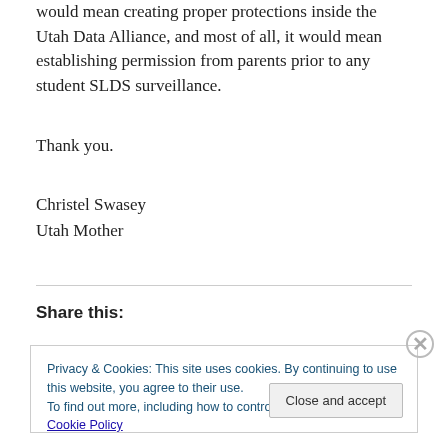would mean creating proper protections inside the Utah Data Alliance, and most of all, it would mean establishing permission from parents prior to any student SLDS surveillance.
Thank you.
Christel Swasey
Utah Mother
Share this:
Privacy & Cookies: This site uses cookies. By continuing to use this website, you agree to their use.
To find out more, including how to control cookies, see here: Cookie Policy